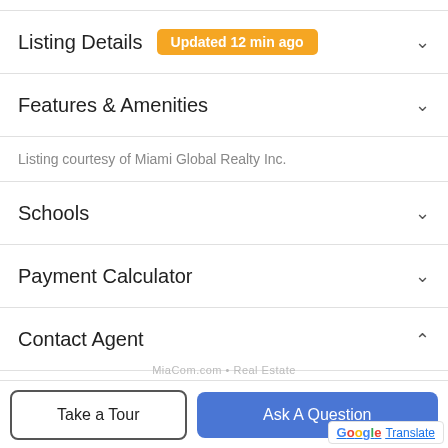Listing Details Updated 12 min ago
Features & Amenities
Listing courtesy of Miami Global Realty Inc.
Schools
Payment Calculator
Contact Agent
[Figure (photo): Contact agent profile photo (partial, circular crop, brown hair)]
Take a Tour
Ask A Question
G Translate